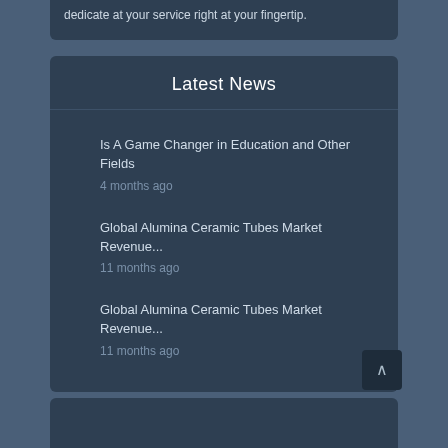dedicate at your service right at your fingertip.
Latest News
Is A Game Changer in Education and Other Fields
4 months ago
Global Alumina Ceramic Tubes Market Revenue...
11 months ago
Global Alumina Ceramic Tubes Market Revenue...
11 months ago